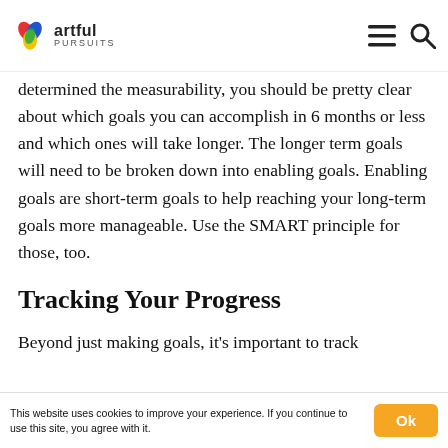artful pursuits [logo with nav icons]
determined the measurability, you should be pretty clear about which goals you can accomplish in 6 months or less and which ones will take longer. The longer term goals will need to be broken down into enabling goals. Enabling goals are short-term goals to help reaching your long-term goals more manageable. Use the SMART principle for those, too.
Tracking Your Progress
Beyond just making goals, it's important to track
This website uses cookies to improve your experience. If you continue to use this site, you agree with it.